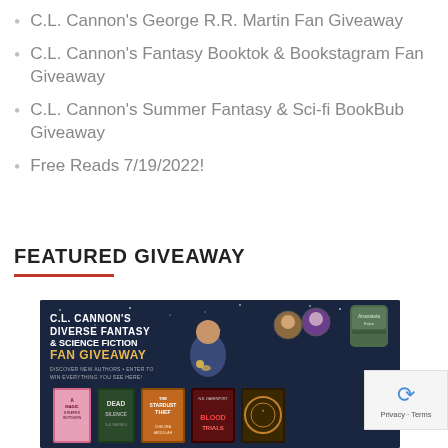C.L. Cannon's George R.R. Martin Fan Giveaway
C.L. Cannon's Fantasy Booktok & Bookstagram Fan Giveaway
C.L. Cannon's Summer Fantasy & Sci-fi BookBub Giveaway
Free Reads 7/19/2022!
FEATURED GIVEAWAY
[Figure (photo): C.L. Cannon's Diverse Fantasy & Science Fiction Fan Giveaway promotional image showing book covers including Dead Silence, The Stardust Thief, Blood Trials, and other fantasy/sci-fi books along with a Funko Pop figure and other merchandise against a dark blue starry background.]